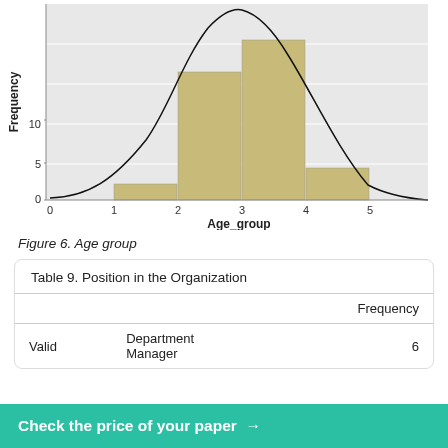[Figure (histogram): Frequency histogram of Age_group]
Figure 6. Age group
|  |  | Frequency |
| --- | --- | --- |
| Valid | Department Manager | 6 |
Check the price of your paper →